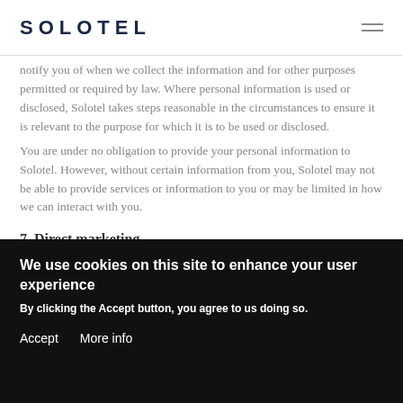SOLOTEL
notify you of when we collect the information and for other purposes permitted or required by law. Where personal information is used or disclosed, Solotel takes steps reasonable in the circumstances to ensure it is relevant to the purpose for which it is to be used or disclosed.
You are under no obligation to provide your personal information to Solotel. However, without certain information from you, Solotel may not be able to provide services or information to you or may be limited in how we can interact with you.
7. Direct marketing
In addition to the purposes outlined in paragraph 6
We use cookies on this site to enhance your user experience
By clicking the Accept button, you agree to us doing so.
Accept    More info